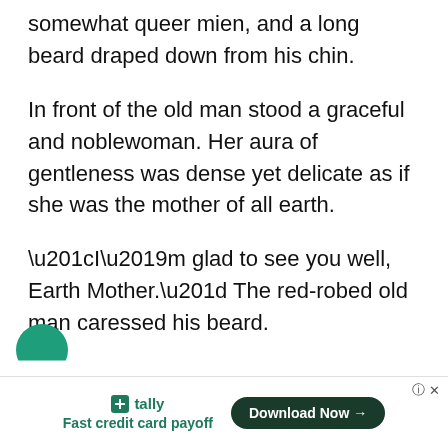somewhat queer mien, and a long beard draped down from his chin.
In front of the old man stood a graceful and noblewoman. Her aura of gentleness was dense yet delicate as if she was the mother of all earth.
“I’m glad to see you well, Earth Mother.” The red-robed old man caressed his beard.
[Figure (other): Partial teal circle shape visible at bottom left, part of a mobile app UI element]
tally Fast credit card payoff   Download Now →